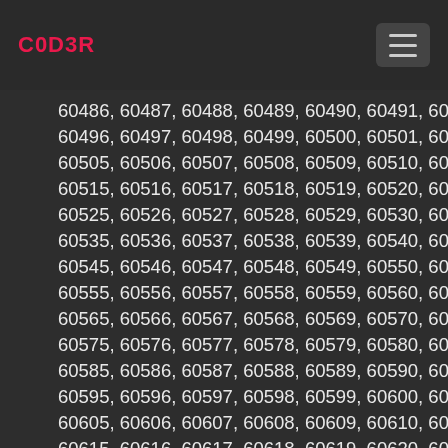C0D3R
60486, 60487, 60488, 60489, 60490, 60491, 60... 60496, 60497, 60498, 60499, 60500, 60501, 60... 60505, 60506, 60507, 60508, 60509, 60510, 60... 60515, 60516, 60517, 60518, 60519, 60520, 6052... 60525, 60526, 60527, 60528, 60529, 60530, 60... 60535, 60536, 60537, 60538, 60539, 60540, 60... 60545, 60546, 60547, 60548, 60549, 60550, 60... 60555, 60556, 60557, 60558, 60559, 60560, 60... 60565, 60566, 60567, 60568, 60569, 60570, 60... 60575, 60576, 60577, 60578, 60579, 60580, 60... 60585, 60586, 60587, 60588, 60589, 60590, 60... 60595, 60596, 60597, 60598, 60599, 60600, 60... 60605, 60606, 60607, 60608, 60609, 60610, 60... 60615, 60616, 60617, 60618, 60619, 60620, 6062... 60625, 60626, 60627, 60628, 60629, 60630, 60... 60635, 60636, 60637, 60638, 60639, 60640, 60...